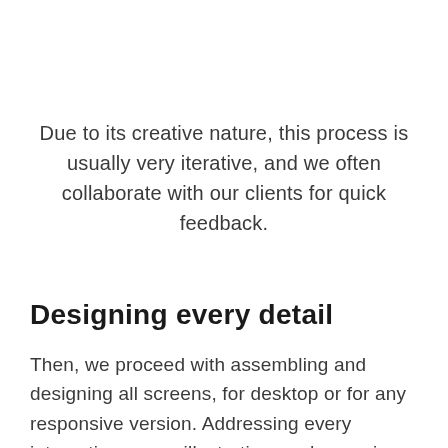Due to its creative nature, this process is usually very iterative, and we often collaborate with our clients for quick feedback.
Designing every detail
Then, we proceed with assembling and designing all screens, for desktop or for any responsive version. Addressing every interaction, every illustration, and every icon